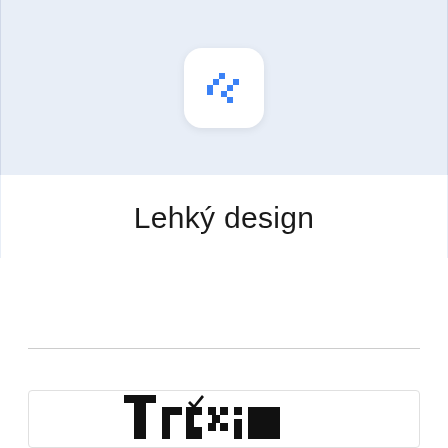[Figure (illustration): Blue tools/wrench icon in a white rounded square on a light blue background with wave shape at bottom]
Lehký design
[Figure (illustration): Row of downward-pointing triangles (bunting/pennant decoration) in light gray]
[Figure (logo): Traxim or similar brand logo in bold black text with stylized check mark above the 'a']